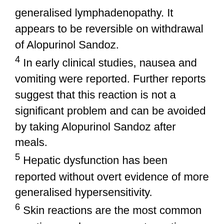generalised lymphadenopathy. It appears to be reversible on withdrawal of Alopurinol Sandoz.
4 In early clinical studies, nausea and vomiting were reported. Further reports suggest that this reaction is not a significant problem and can be avoided by taking Alopurinol Sandoz after meals.
5 Hepatic dysfunction has been reported without overt evidence of more generalised hypersensitivity.
6 Skin reactions are the most common reactions and may occur at any time during treatment.). If SJS/TEN, or other serious hypersensitivity reactions cannot be ruled out, DO NOT re-introduce Alopurinol Sandoz due to the potential for a severe or even fatal reaction. The clinical